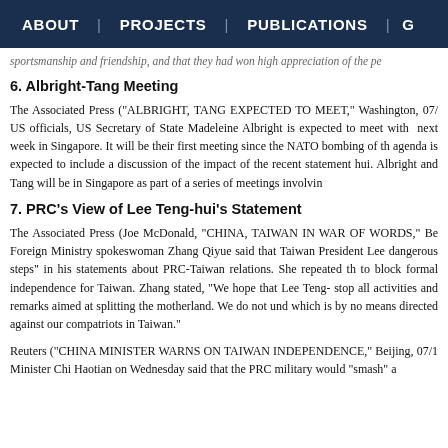ABOUT | PROJECTS | PUBLICATIONS | G
sportsmanship and friendship, and that they had won high appreciation of the pe
6. Albright-Tang Meeting
The Associated Press ("ALBRIGHT, TANG EXPECTED TO MEET," Washington, 07/... US officials, US Secretary of State Madeleine Albright is expected to meet with ... next week in Singapore. It will be their first meeting since the NATO bombing of th... agenda is expected to include a discussion of the impact of the recent statement... hui. Albright and Tang will be in Singapore as part of a series of meetings involvin...
7. PRC's View of Lee Teng-hui's Statement
The Associated Press (Joe McDonald, "CHINA, TAIWAN IN WAR OF WORDS," Be... Foreign Ministry spokeswoman Zhang Qiyue said that Taiwan President Lee... dangerous steps" in his statements about PRC-Taiwan relations. She repeated th... to block formal independence for Taiwan. Zhang stated, "We hope that Lee Teng-... stop all activities and remarks aimed at splitting the motherland. We do not und... which is by no means directed against our compatriots in Taiwan."
Reuters ("CHINA MINISTER WARNS ON TAIWAN INDEPENDENCE," Beijing, 07/1... Minister Chi Haotian on Wednesday said that the PRC military would "smash" a...